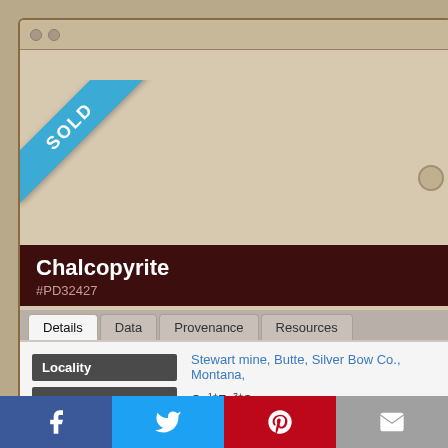[Figure (screenshot): Browser screenshot showing a mineral specimen listing for Chalcopyrite with SOLD ribbon]
Chalcopyrite
#PD32427
| Field | Value |
| --- | --- |
| Locality | Stewart mine, Butte, Silver Bow Co., Montana, |
| Formula | Cu1+Fe3+S2 |
| Availability | Sold |
| Size | 7 x 5 x 3.5 cm - Sm Cabinet |
| Tagged | sulfide |
Outstanding botryoidal habit Chalcopyrite crystals composing the face of pri